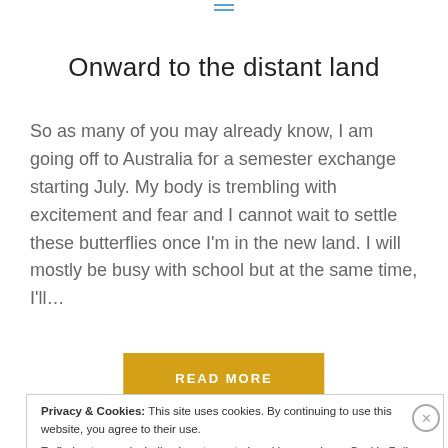≡
Onward to the distant land
So as many of you may already know, I am going off to Australia for a semester exchange starting July. My body is trembling with excitement and fear and I cannot wait to settle these butterflies once I'm in the new land. I will mostly be busy with school but at the same time, I'll…
READ MORE
Privacy & Cookies: This site uses cookies. By continuing to use this website, you agree to their use.
To find out more, including how to control cookies, see here: Cookie Policy
Close and accept